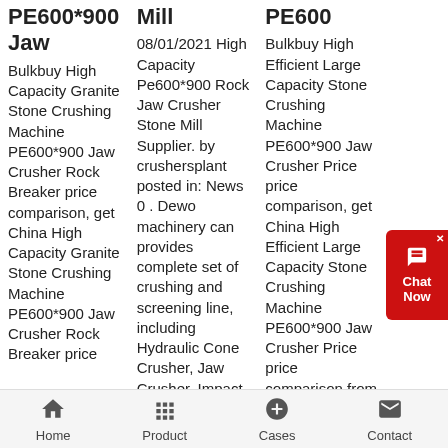PE600*900 Jaw
Bulkbuy High Capacity Granite Stone Crushing Machine PE600*900 Jaw Crusher Rock Breaker price comparison, get China High Capacity Granite Stone Crushing Machine PE600*900 Jaw Crusher Rock Breaker price
Mill
08/01/2021 High Capacity Pe600*900 Rock Jaw Crusher Stone Mill Supplier. by crushersplant posted in: News 0 . Dewo machinery can provides complete set of crushing and screening line, including Hydraulic Cone Crusher, Jaw Crusher, Impact Crusher, Vertical
PE600
Bulkbuy High Efficient Large Capacity Stone Crushing Machine PE600*900 Jaw Crusher Price price comparison, get China High Efficient Large Capacity Stone Crushing Machine PE600*900 Jaw Crusher Price price comparison from PE600*900 Jaw Crusher, Stone
Home | Product | Cases | Contact